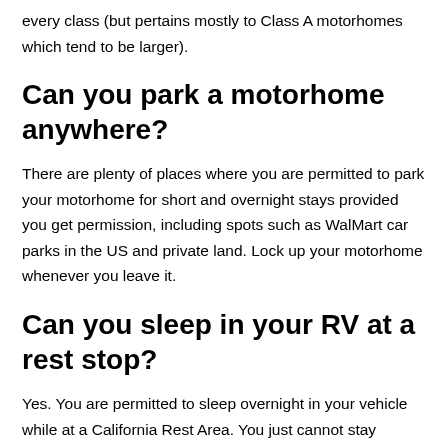every class (but pertains mostly to Class A motorhomes which tend to be larger).
Can you park a motorhome anywhere?
There are plenty of places where you are permitted to park your motorhome for short and overnight stays provided you get permission, including spots such as WalMart car parks in the US and private land. Lock up your motorhome whenever you leave it.
Can you sleep in your RV at a rest stop?
Yes. You are permitted to sleep overnight in your vehicle while at a California Rest Area. You just cannot stay beyond 8 hours. This is because sleeping outside, either on the ground or on a bench